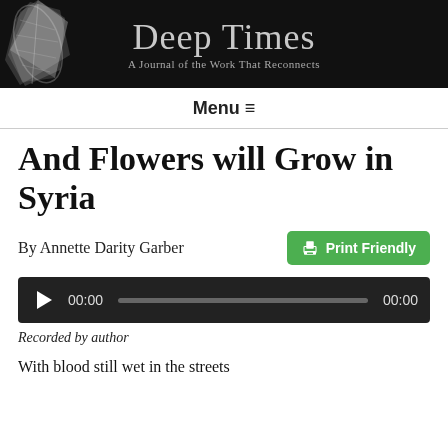[Figure (logo): Deep Times journal header banner with feather/leaf image on black background, title 'Deep Times' and subtitle 'A Journal of the Work That Reconnects']
Menu ☰
And Flowers will Grow in Syria
By Annette Darity Garber
[Figure (screenshot): Audio player widget, dark background, play button, time 00:00, progress bar, end time 00:00]
Recorded by author
With blood still wet in the streets